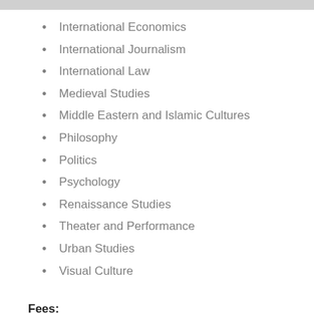International Economics
International Journalism
International Law
Medieval Studies
Middle Eastern and Islamic Cultures
Philosophy
Politics
Psychology
Renaissance Studies
Theater and Performance
Urban Studies
Visual Culture
Fees: